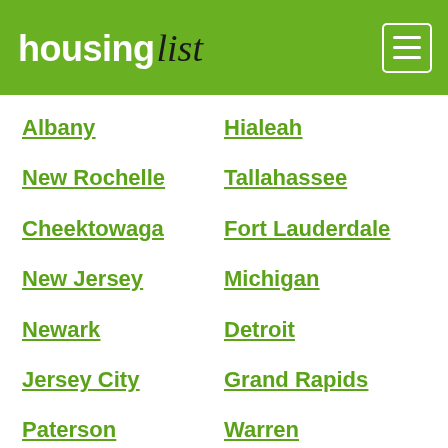housing list
Albany
Hialeah
New Rochelle
Tallahassee
Cheektowaga
Fort Lauderdale
New Jersey
Michigan
Newark
Detroit
Jersey City
Grand Rapids
Paterson
Warren
Elizabeth
Sterling Heights